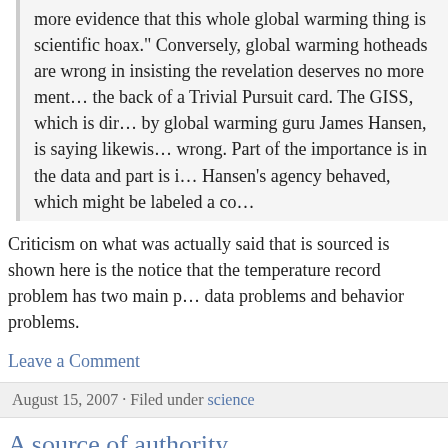more evidence that this whole global warming thing is scientific hoax.” Conversely, global warming hotheads are wrong in insisting the revelation deserves no more mention than the back of a Trivial Pursuit card. The GISS, which is directed by global warming guru James Hansen, is saying likewise it is wrong. Part of the importance is in the data and part is in how Hansen’s agency behaved, which might be labeled a co...
Criticism on what was actually said that is sourced is shown here is the notice that the temperature record problem has two main parts: data problems and behavior problems.
Leave a Comment
August 15, 2007 · Filed under science
A source of authority
Michael Yon describes it:
through time, somehow the American military has mana...